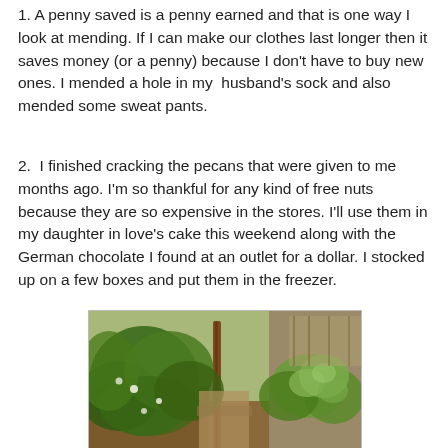1. A penny saved is a penny earned and that is one way I look at mending. If I can make our clothes last longer then it saves money (or a penny) because I don't have to buy new ones. I mended a hole in my husband's sock and also mended some sweat pants.
2. I finished cracking the pecans that were given to me months ago. I'm so thankful for any kind of free nuts because they are so expensive in the stores. I'll use them in my daughter in love's cake this weekend along with the German chocolate I found at an outlet for a dollar. I stocked up on a few boxes and put them in the freezer.
[Figure (photo): A garden photo showing leafy green plants and what appears to be a wooden stake or post in the middle, with various vegetable plants including broad-leafed plants on the right side, in an outdoor garden setting.]